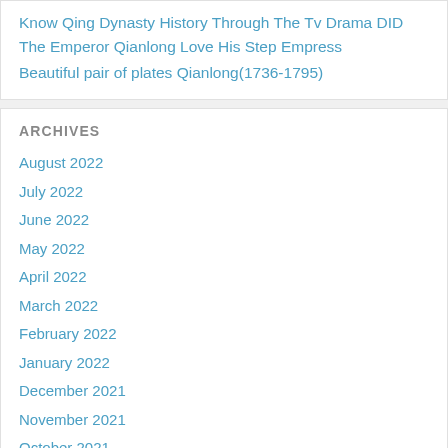Know Qing Dynasty History Through The Tv Drama DID The Emperor Qianlong Love His Step Empress
Beautiful pair of plates Qianlong(1736-1795)
ARCHIVES
August 2022
July 2022
June 2022
May 2022
April 2022
March 2022
February 2022
January 2022
December 2021
November 2021
October 2021
September 2021
August 2021
July 2021